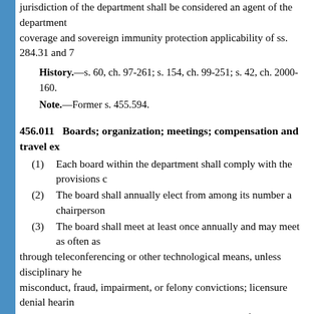jurisdiction of the department shall be considered an agent of the department coverage and sovereign immunity protection applicability of ss. 284.31 and 7
History.—s. 60, ch. 97-261; s. 154, ch. 99-251; s. 42, ch. 2000-160.
Note.—Former s. 455.594.
456.011   Boards; organization; meetings; compensation and travel ex
(1)   Each board within the department shall comply with the provisions c
(2)   The board shall annually elect from among its number a chairperson
(3)   The board shall meet at least once annually and may meet as often as through teleconferencing or other technological means, unless disciplinary he misconduct, fraud, impairment, or felony convictions; licensure denial hearin conducted; or unless otherwise approved in advance of the meeting by the di Assurance. The chairperson or a quorum of the board shall have the authority relating to in-person meetings. A quorum shall be necessary for the conduct c committee thereof. Unless otherwise provided by law, 51 percent or more of committee, when applicable, shall constitute a quorum. The membership of c otherwise authorized pursuant to this chapter or the applicable practice act, sh members of the board. The vote of a majority of the members of the quorum the board or committee. Three consecutive unexcused absences or absences b board's meetings within any 12-month period shall cause the board members void, and the position shall be considered vacant. The board, or the departme define unexcused absences.
(4)   Unless otherwise provided by law, members of a board who are not